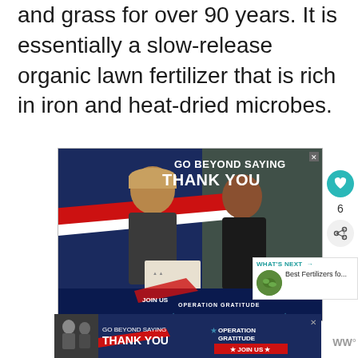and grass for over 90 years. It is essentially a slow-release organic lawn fertilizer that is rich in iron and heat-dried microbes.
[Figure (photo): Advertisement banner: 'GO BEYOND SAYING THANK YOU' - Operation Gratitude. Shows a military service member in uniform receiving a package from a woman. Navy blue background with red and white stripes. Operation Gratitude logo at bottom.]
[Figure (screenshot): Social media sidebar with heart/like icon showing count of 6, and a share icon.]
WHAT'S NEXT → Best Fertilizers fo...
[Figure (photo): Bottom banner advertisement: GO BEYOND SAYING THANK YOU - Operation Gratitude - JOIN US. Shows people in background on left side.]